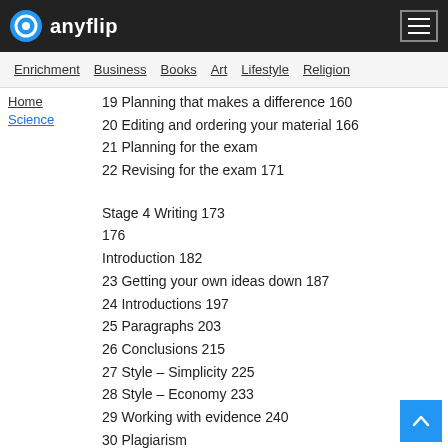anyflip
Enrichment  Business  Books  Art  Lifestyle  Religion
Home  Science
19 Planning that makes a difference 160
20 Editing and ordering your material 166
21 Planning for the exam
22 Revising for the exam 171
Stage 4 Writing 173
176
Introduction 182
23 Getting your own ideas down 187
24 Introductions 197
25 Paragraphs 203
26 Conclusions 215
27 Style – Simplicity 225
28 Style – Economy 233
29 Working with evidence 240
30 Plagiarism